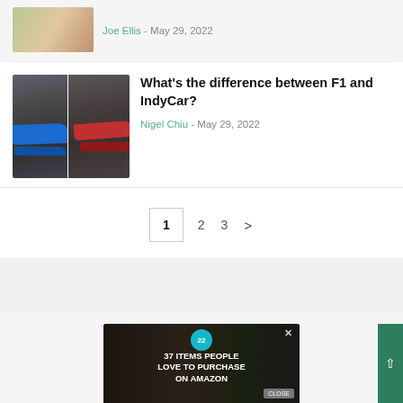Joe Ellis - May 29, 2022
What's the difference between F1 and IndyCar?
Nigel Chiu - May 29, 2022
1  2  3  >
[Figure (screenshot): Advertisement banner: 37 ITEMS PEOPLE LOVE TO PURCHASE ON AMAZON with close button and badge showing '22']